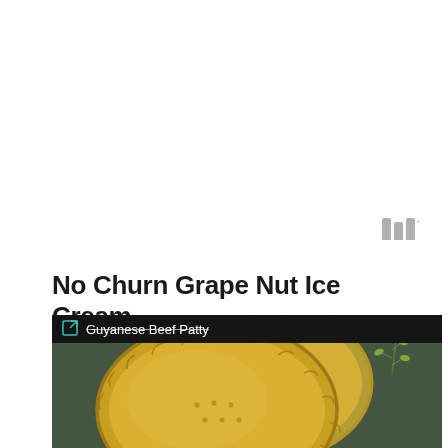[Figure (logo): Three vertical bars logo with superscript degree symbol, gray color]
No Churn Grape Nut Ice Cream
[Figure (photo): Photo of Guyanese Beef Patty - golden yellow crimped pastry turnovers on a dark background with a sprig of herbs, with a dark overlay bar at top showing 'Guyanese Beef Patty' text with a link icon]